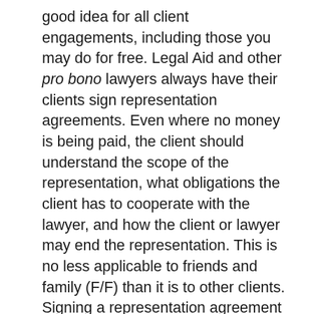good idea for all client engagements, including those you may do for free. Legal Aid and other pro bono lawyers always have their clients sign representation agreements. Even where no money is being paid, the client should understand the scope of the representation, what obligations the client has to cooperate with the lawyer, and how the client or lawyer may end the representation. This is no less applicable to friends and family (F/F) than it is to other clients. Signing a representation agreement also shows that you are taking the matter seriously and you expect the same from your clients.
Fees. If you do not charge the F/F a fee, you risk that if the matter becomes more complicated than you anticipated, you may become resentful that you are working for free, do a poor job, or